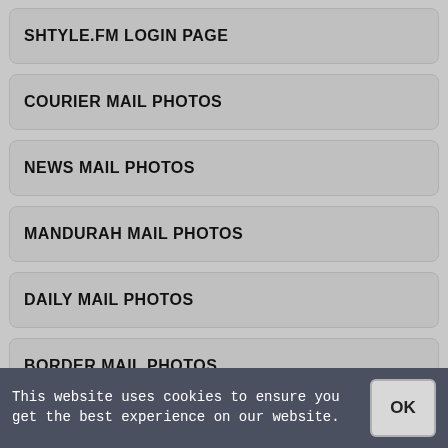SHTYLE.FM LOGIN PAGE
COURIER MAIL PHOTOS
NEWS MAIL PHOTOS
MANDURAH MAIL PHOTOS
DAILY MAIL PHOTOS
BORDER MAIL PHOTOS
PHOTOS.GOOGLE LOGIN
BIG W PHOTOS LOGIN
This website uses cookies to ensure you get the best experience on our website.  OK